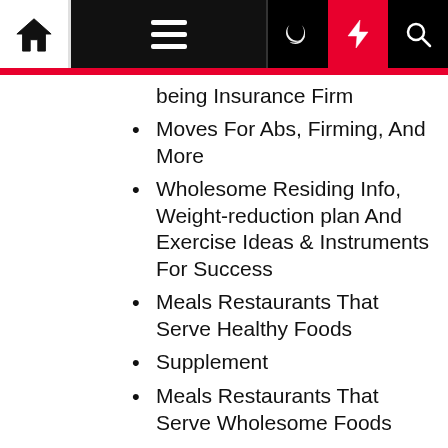Navigation bar with home, hamburger menu, moon, lightning, and search icons
being Insurance Firm
Moves For Abs, Firming, And More
Wholesome Residing Info, Weight-reduction plan And Exercise Ideas & Instruments For Success
Meals Restaurants That Serve Healthy Foods
Supplement
Meals Restaurants That Serve Wholesome Foods
Wholesome Weight, Diet And Physical